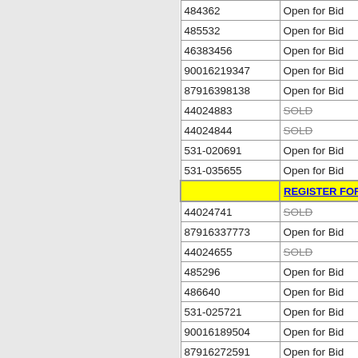| ID | Status | Action |
| --- | --- | --- |
| 484362 | Open for Bid | View |
| 485532 | Open for Bid | View |
| 46383456 | Open for Bid | View |
| 90016219347 | Open for Bid | View |
| 87916398138 | Open for Bid | View |
| 44024883 | SOLD | View |
| 44024844 | SOLD | View |
| 531-020691 | Open for Bid | View |
| 531-035655 | Open for Bid | View |
|  | REGISTER FOR A F |  |
| 44024741 | SOLD | View |
| 87916337773 | Open for Bid | View |
| 44024655 | SOLD | View |
| 485296 | Open for Bid | View |
| 486640 | Open for Bid | View |
| 531-025721 | Open for Bid | View |
| 90016189504 | Open for Bid | View |
| 87916272591 | Open for Bid | View |
| 485862 | Open for Bid | View |
| 88516206295 | Open for Bid | View |
| 486884 | Open for Bid | View |
| 90016228636 | Open for Bid | View |
| 874357 | Open for Bid | View |